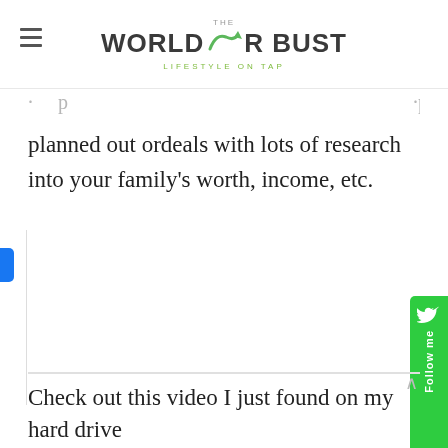THE WORLD OR BUST LIFESTYLE ON TAP
planned out ordeals with lots of research into your family's worth, income, etc.
Check out this video I just found on my hard drive